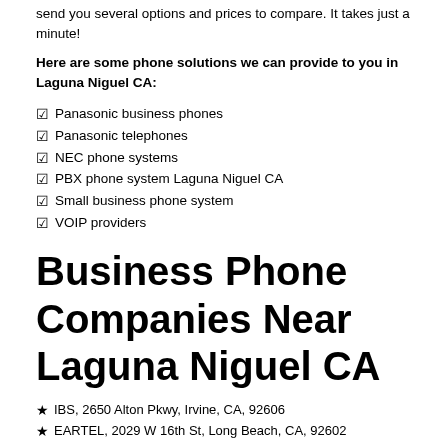send you several options and prices to compare. It takes just a minute!
Here are some phone solutions we can provide to you in Laguna Niguel CA:
Panasonic business phones
Panasonic telephones
NEC phone systems
PBX phone system Laguna Niguel CA
Small business phone system
VOIP providers
Business Phone Companies Near Laguna Niguel CA
IBS, 2650 Alton Pkwy, Irvine, CA, 92606
EARTEL, 2029 W 16th St, Long Beach, CA, 92602